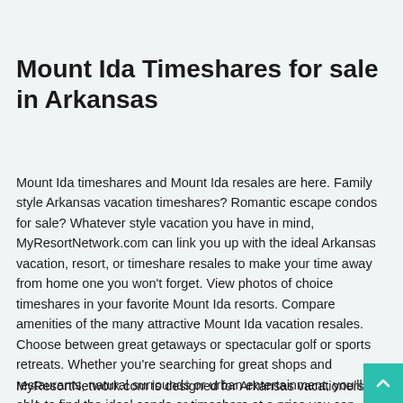Mount Ida Timeshares for sale in Arkansas
Mount Ida timeshares and Mount Ida resales are here. Family style Arkansas vacation timeshares? Romantic escape condos for sale? Whatever style vacation you have in mind, MyResortNetwork.com can link you up with the ideal Arkansas vacation, resort, or timeshare resales to make your time away from home one you won't forget. View photos of choice timeshares in your favorite Mount Ida resorts. Compare amenities of the many attractive Mount Ida vacation resales. Choose between great getaways or spectacular golf or sports retreats. Whether you're searching for great shops and restaurants, natural surrounds or urban entertainment, you'll be able to find the ideal condo or timeshare at a price you can afford.
MyResortNetwork.com is designed for Arkansas vacationers and...